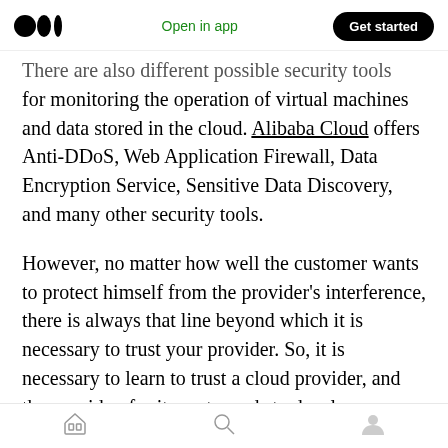Medium logo | Open in app | Get started
There are also different possible security tools for monitoring the operation of virtual machines and data stored in the cloud. Alibaba Cloud offers Anti-DDoS, Web Application Firewall, Data Encryption Service, Sensitive Data Discovery, and many other security tools.
However, no matter how well the customer wants to protect himself from the provider's interference, there is always that line beyond which it is necessary to trust your provider. So, it is necessary to learn to trust a cloud provider, and the provider, for its part, needs to develop a